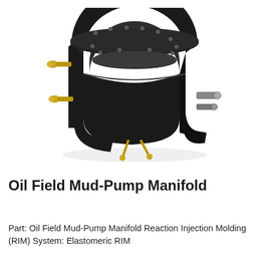[Figure (photo): A black horseshoe-shaped Oil Field Mud-Pump Manifold component with multiple bolt holes on the top flange surface, brass/gold colored fittings and thumbscrews on the sides, and metallic connector ports on the right side. The part is photographed on a white background at a three-quarter angle.]
Oil Field Mud-Pump Manifold
Part:  Oil Field Mud-Pump Manifold Reaction Injection Molding (RIM) System:  Elastomeric RIM